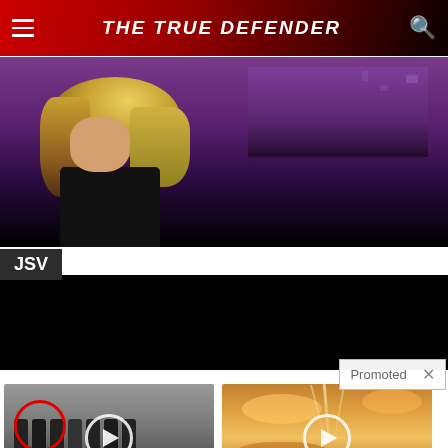THE TRUE DEFENDER
[Figure (photo): Blonde woman on a TV show set with purple/city night background, partially visible]
JSV
[Figure (screenshot): Black video player area]
Promoted
[Figure (photo): Group of men in suits at CIA headquarters with a red circle highlighting one person and a video play button overlay]
Biden Probably Wants This Video Destroyed — US Dollar On Path Towards Replacement?
🔥 657,291
[Figure (photo): Dramatic sky with golden clouds and sunbeams with a video play button overlay]
Everyone Who Believes In God Should Watch This. It Will Blow Your Mind
🔥 66,842